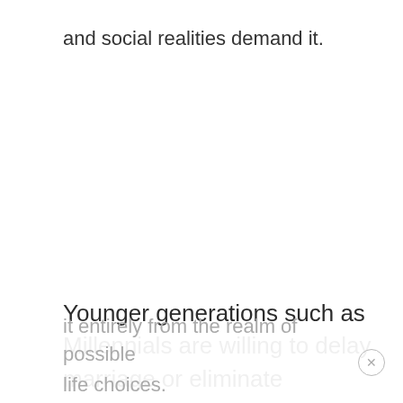and social realities demand it.
Younger generations such as Millennials are willing to delay marriage or eliminate it entirely from the realm of possible life choices. The economic and social
it entirely from the realm of possible life choices.